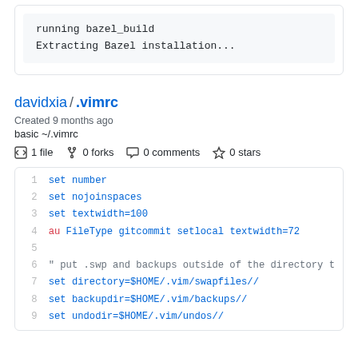[Figure (screenshot): Top of a code block (cropped) showing: 'running bazel_build' and 'Extracting Bazel installation...']
davidxia / .vimrc
Created 9 months ago
basic ~/.vimrc
1 file   0 forks   0 comments   0 stars
[Figure (screenshot): Code viewer showing .vimrc file lines 1-9: set number, set nojoinspaces, set textwidth=100, au FileType gitcommit setlocal textwidth=72, (blank), " put .swp and backups outside of the directory t, set directory=$HOME/.vim/swapfiles//, set backupdir=$HOME/.vim/backups//, set undodir=$HOME/.vim/undos//]